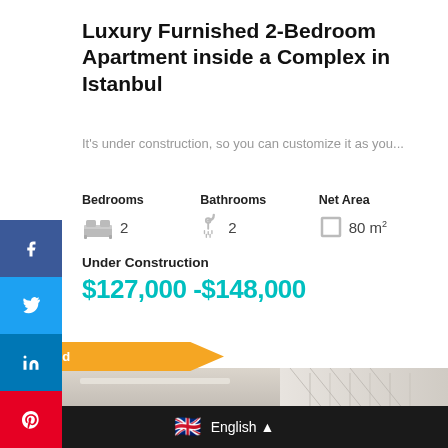Luxury Furnished 2-Bedroom Apartment inside a Complex in Istanbul
It's under construction, so you can customize it as you...
Bedrooms  Bathrooms  Net Area
2  2  80 m²
Under Construction
$127,000 -$148,000
Featured
[Figure (photo): Interior photo of a luxury apartment ceiling and wall]
English